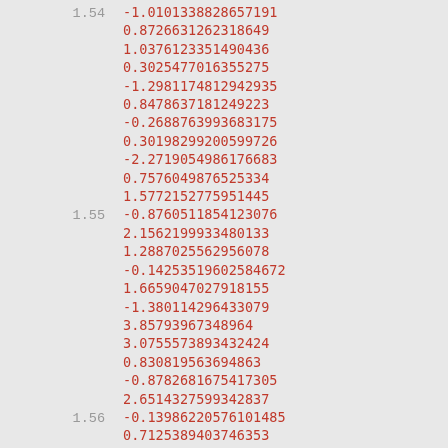1.54  -1.0101338828657191
0.8726631262318649
1.0376123351490436
0.3025477016355275
-1.2981174812942935
0.8478637181249223
-0.2688763993683175
0.3019829920059972
-2.2719054986176683
0.7576049876525334
1.5772152775951445
1.55  -0.8760511854123076
2.1562199933480133
1.2887025562956078
-0.1425351960258467
1.6659047027918155
-1.380114296433079
3.85793967348964
3.0755573893432424
0.830819563694863
-0.8782681675417305
2.6514327599342837
1.56  -0.1398622057610148
0.7125389403746353
0.3596237434172795
0.7127480011897636
1.0687856807518747
-0.4951739548431622
0.1329622804363040
-0.0828985250046717
0.2142190474668311
0.6926960571318380